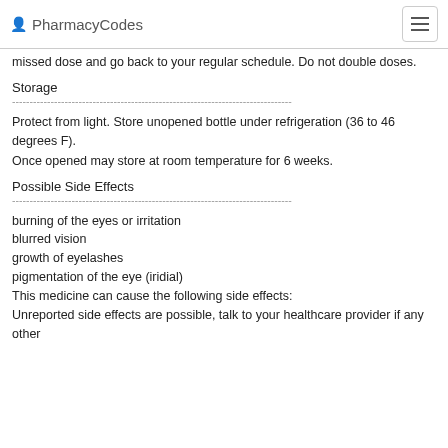PharmacyCodes
missed dose and go back to your regular schedule. Do not double doses.
Storage
Protect from light. Store unopened bottle under refrigeration (36 to 46 degrees F).
Once opened may store at room temperature for 6 weeks.
Possible Side Effects
burning of the eyes or irritation
blurred vision
growth of eyelashes
pigmentation of the eye (iridial)
This medicine can cause the following side effects:
Unreported side effects are possible, talk to your healthcare provider if any other